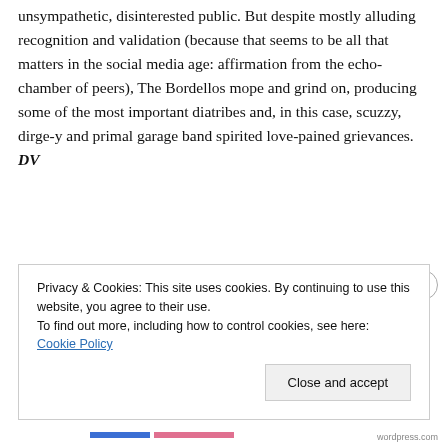unsympathetic, disinterested public. But despite mostly alluding recognition and validation (because that seems to be all that matters in the social media age: affirmation from the echo-chamber of peers), The Bordellos mope and grind on, producing some of the most important diatribes and, in this case, scuzzy, dirge-y and primal garage band spirited love-pained grievances. DV
Full review…
Privacy & Cookies: This site uses cookies. By continuing to use this website, you agree to their use.
To find out more, including how to control cookies, see here: Cookie Policy